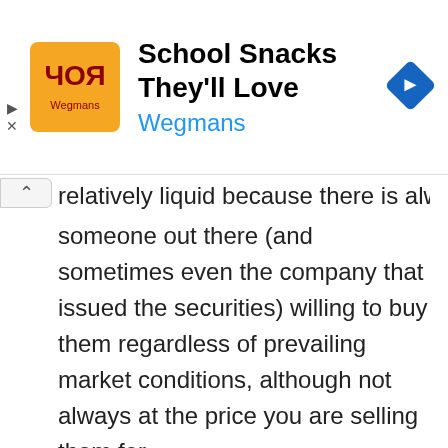[Figure (other): Advertisement banner for Wegmans 'School Snacks They'll Love' with orange logo, title text, blue subtitle, and blue navigation diamond icon]
relatively liquid because there is always someone out there (and sometimes even the company that issued the securities) willing to buy them regardless of prevailing market conditions, although not always at the price you are selling them for.
There are two kinds of capital loss in securities: not being able to get what you expect, and loss of the invested capital. However, it can be minimized through different strategies, including peso-cost averaging, diversification,